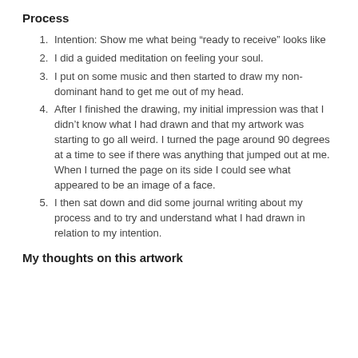Process
Intention: Show me what being “ready to receive” looks like
I did a guided meditation on feeling your soul.
I put on some music and then started to draw my non-dominant hand to get me out of my head.
After I finished the drawing, my initial impression was that I didn’t know what I had drawn and that my artwork was starting to go all weird. I turned the page around 90 degrees at a time to see if there was anything that jumped out at me. When I turned the page on its side I could see what appeared to be an image of a face.
I then sat down and did some journal writing about my process and to try and understand what I had drawn in relation to my intention.
My thoughts on this artwork